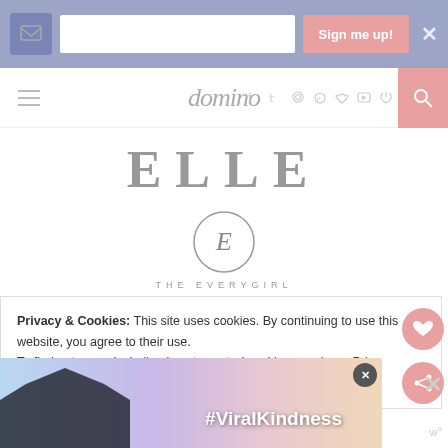[Figure (screenshot): Website header with blue/purple banner containing email signup field and 'Sign me up!' button with close X]
[Figure (logo): domino magazine logo in gray italic serif font with social media icons (f, twitter, instagram, pinterest, heart, youtube, rss) and pink search button]
[Figure (logo): ELLE magazine logo in large gray serif bold letters with wide letter-spacing]
[Figure (logo): The Everygirl logo: circle with E letter above text 'THE EVERYGIRL' in spaced gray sans-serif]
[Figure (logo): food52 or food blog logo in large gray italic serif font]
Privacy & Cookies: This site uses cookies. By continuing to use this website, you agree to their use.
To find out more, including how to control cookies, see here: Privacy Policy
[Figure (photo): Advertisement banner showing hands making heart shape silhouette against sunset sky with #ViralKindness hashtag text]